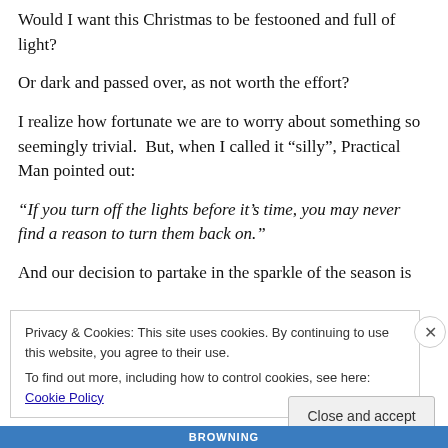Would I want this Christmas to be festooned and full of light?
Or dark and passed over, as not worth the effort?
I realize how fortunate we are to worry about something so seemingly trivial.  But, when I called it “silly”, Practical Man pointed out:
“If you turn off the lights before it’s time, you may never find a reason to turn them back on.”
And our decision to partake in the sparkle of the season is
Privacy & Cookies: This site uses cookies. By continuing to use this website, you agree to their use.
To find out more, including how to control cookies, see here: Cookie Policy
Close and accept